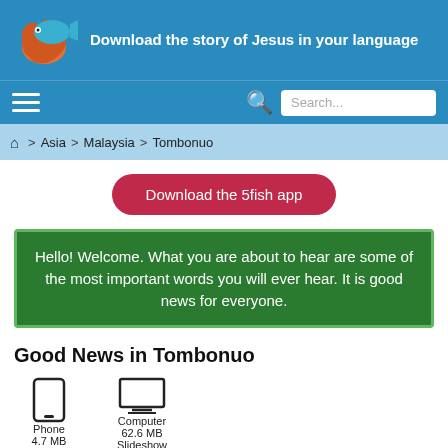Download the story of Jesus in your language
Search...
Home > Asia > Malaysia > Tombonuo
Download the 5fish app
Hello! Welcome. What you are about to hear are some of the most important words you will ever hear. It is good news for everyone.
Good News in Tombonuo
Phone
4.7 MB
Computer
62.6 MB
Slideshow